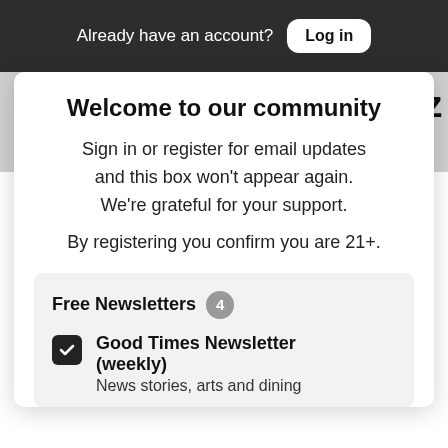Already have an account? Log in
May 19, 3pm: Santa Cruz s to Yellow Tier
Close
Welcome to our community
Sign in or register for email updates and this box won't appear again. We're grateful for your support.
By registering you confirm you are 21+.
Free Newsletters 4
Good Times Newsletter (weekly) — News stories, arts and dining